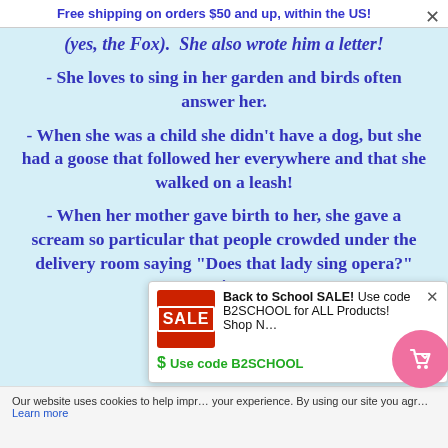Free shipping on orders $50 and up, within the US!
(yes, the Fox).  She also wrote him a letter!
- She loves to sing in her garden and birds often answer her.
- When she was a child she didn't have a dog, but she had a goose that followed her everywhere and that she walked on a leash!
- When her mother gave birth to her, she gave a scream so particular that people crowded under the delivery room saying "Does that lady sing opera?" Destiny!?
[Figure (infographic): Advertisement popup: Back to School SALE! Use code B2SCHOOL for ALL Products! Shop Now. Use code B2SCHOOL. Red SALE badge with shopping cart button.]
Our website uses cookies to help improve your experience. By using our site you agree... Learn more